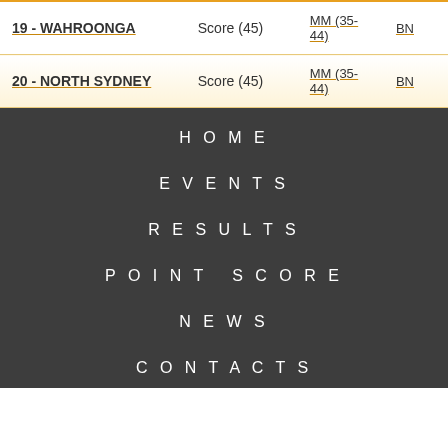|  |  |  |  |
| --- | --- | --- | --- |
| 19 - WAHROONGA | Score (45) | MM (35-44) | BN... |
| 20 - NORTH SYDNEY | Score (45) | MM (35-44) | BN... |
HOME
EVENTS
RESULTS
POINT SCORE
NEWS
CONTACTS